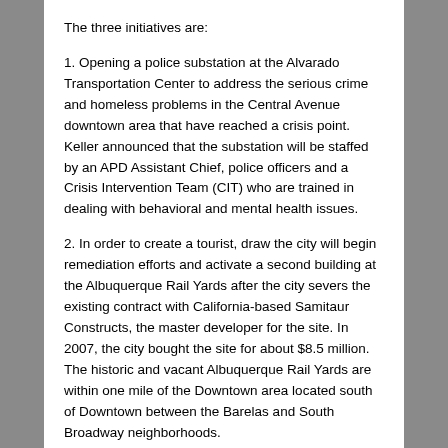The three initiatives are:
1. Opening a police substation at the Alvarado Transportation Center to address the serious crime and homeless problems in the Central Avenue downtown area that have reached a crisis point. Keller announced that the substation will be staffed by an APD Assistant Chief, police officers and a Crisis Intervention Team (CIT) who are trained in dealing with behavioral and mental health issues.
2. In order to create a tourist, draw the city will begin remediation efforts and activate a second building at the Albuquerque Rail Yards after the city severs the existing contract with California-based Samitaur Constructs, the master developer for the site. In 2007, the city bought the site for about $8.5 million. The historic and vacant Albuquerque Rail Yards are within one mile of the Downtown area located south of Downtown between the Barelas and South Broadway neighborhoods.